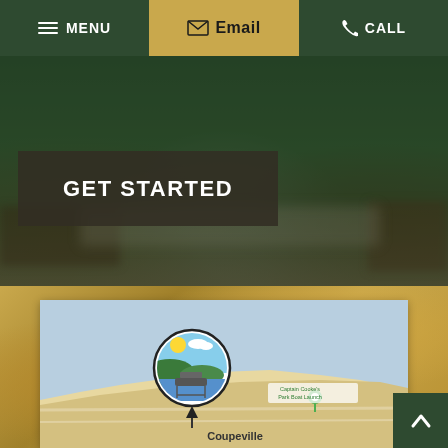MENU | Email | CALL
[Figure (screenshot): Hero section with blurred background photo of an interior/outdoor scene with dark green overlay]
GET STARTED
[Figure (map): Google Maps view showing Coupeville area with a circular custom map marker featuring a scenic waterfront/ferry illustration with sun and clouds. The map shows Coupeville, WA with a green pin marker near Captain Cooke's Park Boat Launch.]